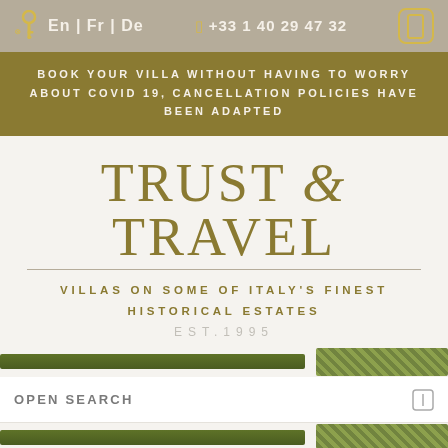En | Fr | De   +33 1 40 29 47 32
BOOK YOUR VILLA WITHOUT HAVING TO WORRY ABOUT COVID 19, CANCELLATION POLICIES HAVE BEEN ADAPTED
TRUST & TRAVEL
VILLAS ON SOME OF ITALY'S FINEST HISTORICAL ESTATES
EST.1995
[Figure (illustration): Green landscape bar graphic with textured foliage element on right]
OPEN SEARCH
[Figure (illustration): Second green landscape bar graphic with textured foliage element on right]
An insider guide to our regions